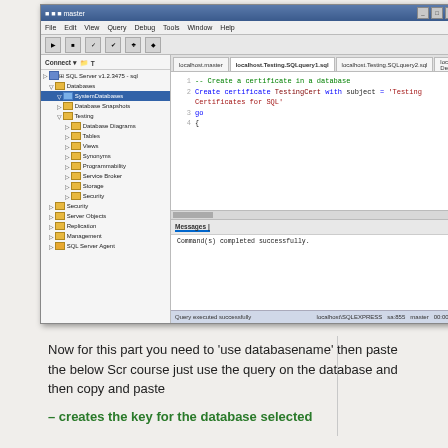[Figure (screenshot): SQL Server Management Studio screenshot showing Object Explorer on the left with a database tree including 'TestDatabase' highlighted, and a query editor on the right with SQL code to create a certificate. The query reads: '-- Create a certificate in a database' and 'Create certificate TestingCert with subject = Testing Certificates for SQL'. Below the code editor is an output/messages panel showing 'Command(s) completed successfully.' A status bar at the bottom shows 'Query executed successfully'.]
Now for this part you need to 'use databasename' then paste the below Script of course just use the query on the database and then copy and paste
– creates the key for the database selected